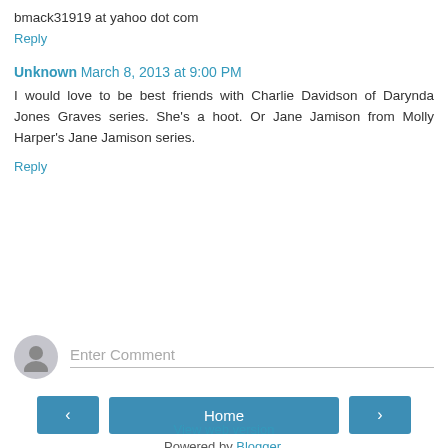bmack31919 at yahoo dot com
Reply
Unknown March 8, 2013 at 9:00 PM
I would love to be best friends with Charlie Davidson of Darynda Jones Graves series. She's a hoot. Or Jane Jamison from Molly Harper's Jane Jamison series.
Reply
Enter Comment
Home
View web version
Powered by Blogger.